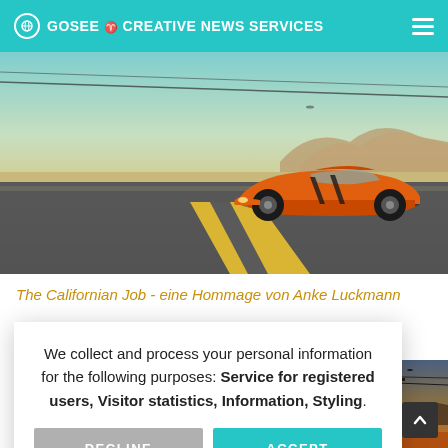GOSEE CREATIVE NEWS SERVICES
[Figure (photo): Orange classic Lamborghini Miura sports car driving on a desert highway with mountains in the background and blue sky above]
The Californian Job - eine Hommage von Anke Luckmann
We collect and process your personal information for the following purposes: Service for registered users, Visitor statistics, Information, Styling.
DECLINE
ACCEPT
learn more ...
[Figure (photo): Bottom thumbnail showing orange car near a telephone pole at sunset]